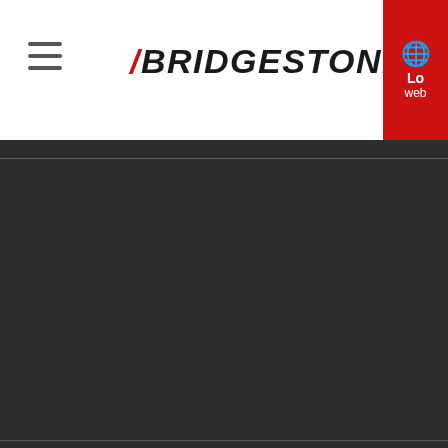BRIDGESTONE
Investors
Message from Global CEO
IR Library
Financial Information
Shareholders' Meeting
IR Calendar
What's New